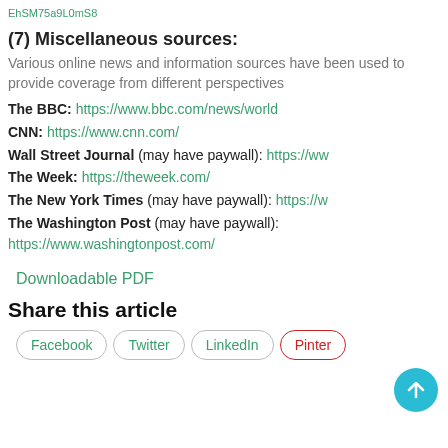EhSM75a9L0mS8
(7) Miscellaneous sources:
Various online news and information sources have been used to provide coverage from different perspectives
The BBC: https://www.bbc.com/news/world
CNN: https://www.cnn.com/
Wall Street Journal (may have paywall): https://www...
The Week: https://theweek.com/
The New York Times (may have paywall): https://w...
The Washington Post (may have paywall): https://www.washingtonpost.com/
Downloadable PDF
Share this article
Facebook
Twitter
LinkedIn
Pinter...